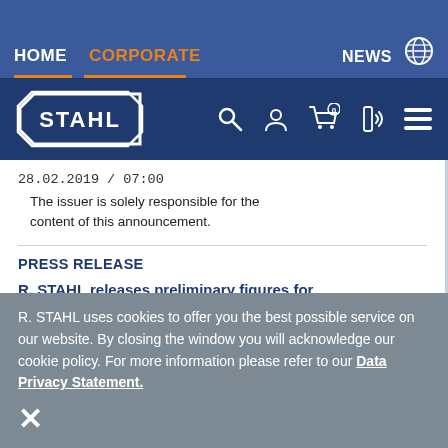HOME  CORPORATE  NEWS
[Figure (logo): R. STAHL company logo with navigation icons: search, user, cart (0), phone, menu]
28.02.2019 / 07:00
    The issuer is solely responsible for the content of this announcement.
PRESS RELEASE
R. STAHL releases preliminary figures for
R. STAHL uses cookies to offer you the best possible service on our website. By closing the window you will acknowledge our cookie policy. For more information please refer to our Data Privacy Statement.